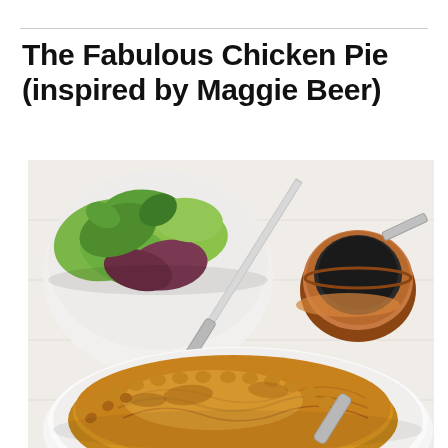The Fabulous Chicken Pie (inspired by Maggie Beer)
[Figure (photo): Overhead photo of a golden-brown baked chicken pie on a white plate, with a green salad in a white bowl in the upper left, a copper saucepan in the upper right, and a pie server/knife across the plate, all on a white wooden surface.]